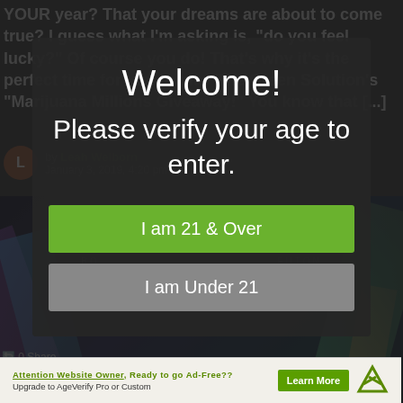YOUR year? That your dreams are about to come true? I guess what I'm asking is, "do you feel lucky?" Of course you do! That's why it's the perfect time for you to play The Green Solution's "Marijuana Millions Giveaway!" You know that [...]
by Leah Welborn
January 3, 2019, 4:20 pm
[Figure (photo): Event poster showing San Holo (September 28) and Blau (September 29) with colorful geometric diamond shapes on dark background]
Welcome!
Please verify your age to enter.
I am 21 & Over
I am Under 21
Attention Website Owner, Ready to go Ad-Free??
Upgrade to AgeVerify Pro or Custom
Learn More